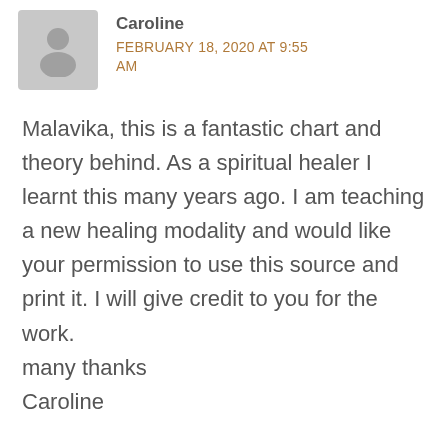[Figure (illustration): Gray placeholder avatar showing a silhouette of a person (head and shoulders) on a gray square background]
Caroline
FEBRUARY 18, 2020 AT 9:55 AM
Malavika, this is a fantastic chart and theory behind. As a spiritual healer I learnt this many years ago. I am teaching a new healing modality and would like your permission to use this source and print it. I will give credit to you for the work.
many thanks
Caroline